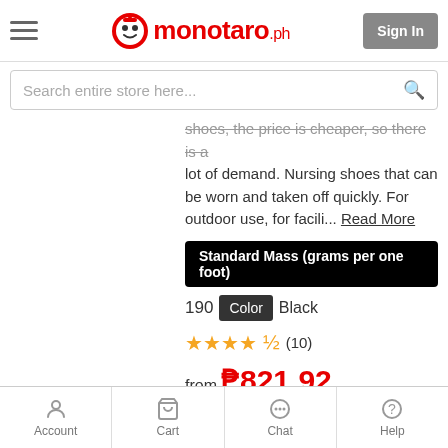[Figure (logo): Monotaro.ph logo with robot face icon and red text]
Search entire store here...
shoes, the price is cheaper, so there is a lot of demand. Nursing shoes that can be worn and taken off quickly. For outdoor use, for facili... Read More
Standard Mass (grams per one foot)
190  Color  Black
★★★★½  (10)
from ₱821.92
Shipping Min. 2 days
See All Products
Account  Cart  Chat  Help